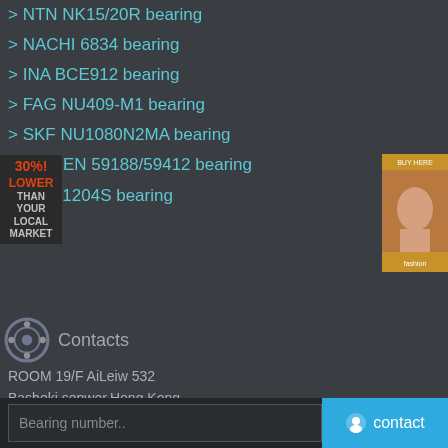NTN NK15/20R bearing
NACHI 6834 bearing
INA BCE912 bearing
FAG NU409-M1 bearing
SKF NU1080N2MA bearing
TIMKEN 59188/59412 bearing
NTN 1204S bearing
Contacts
ROOM 19/F AiLeiw 532
Basheki.sepwer.Hong Kong
E-mail: sale@qualitybearing.org
Copyright © 2019. Company name All rights reserved.